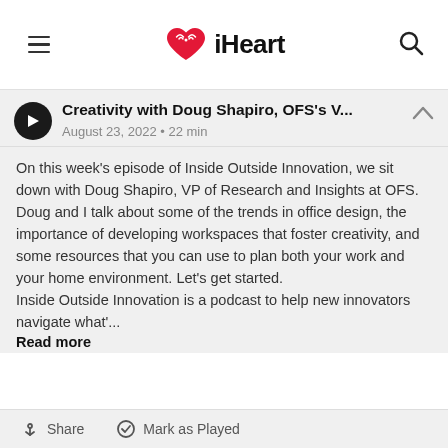iHeart
Creativity with Doug Shapiro, OFS's V...
August 23, 2022 • 22 min
On this week's episode of Inside Outside Innovation, we sit down with Doug Shapiro, VP of Research and Insights at OFS. Doug and I talk about some of the trends in office design, the importance of developing workspaces that foster creativity, and some resources that you can use to plan both your work and your home environment. Let's get started.
Inside Outside Innovation is a podcast to help new innovators navigate what'...
Read more
Share   Mark as Played